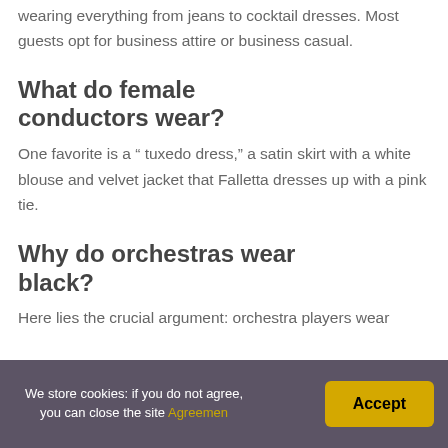wearing everything from jeans to cocktail dresses. Most guests opt for business attire or business casual.
What do female conductors wear?
One favorite is a “ tuxedo dress,” a satin skirt with a white blouse and velvet jacket that Falletta dresses up with a pink tie.
Why do orchestras wear black?
Here lies the crucial argument: orchestra players wear
We store cookies: if you do not agree, you can close the site Agreemen
Accept